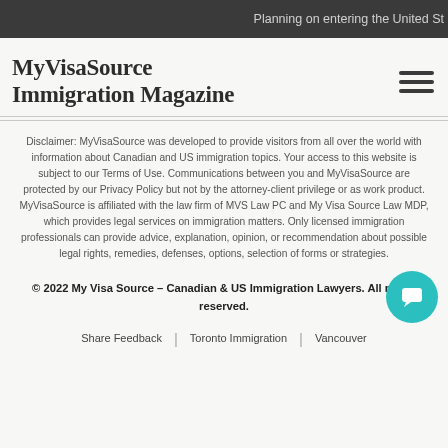Planning on entering the United St
MyVisaSource Immigration Magazine
Disclaimer: MyVisaSource was developed to provide visitors from all over the world with information about Canadian and US immigration topics. Your access to this website is subject to our Terms of Use. Communications between you and MyVisaSource are protected by our Privacy Policy but not by the attorney-client privilege or as work product. MyVisaSource is affiliated with the law firm of MVS Law PC and My Visa Source Law MDP, which provides legal services on immigration matters. Only licensed immigration professionals can provide advice, explanation, opinion, or recommendation about possible legal rights, remedies, defenses, options, selection of forms or strategies.
© 2022 My Visa Source – Canadian & US Immigration Lawyers. All rights reserved.
Share Feedback | Toronto Immigration | Vancouver